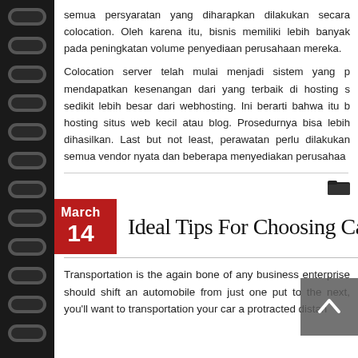semua persyaratan yang diharapkan dilakukan secara colocation. Oleh karena itu, bisnis memiliki lebih banyak pada peningkatan volume penyediaan perusahaan mereka.
Colocation server telah mulai menjadi sistem yang mendapatkan kesenangan dari yang terbaik di hosting sedikit lebih besar dari webhosting. Ini berarti bahwa itu b hosting situs web kecil atau blog. Prosedurnya bisa lebih dihasilkan. Last but not least, perawatan perlu dilakukan semua vendor nyata dan beberapa menyediakan perusahaa
Ideal Tips For Choosing Car
Transportation is the again bone of any business enterprise should shift an automobile from just one put to the next, you'll want to transportation your car a protracted distan